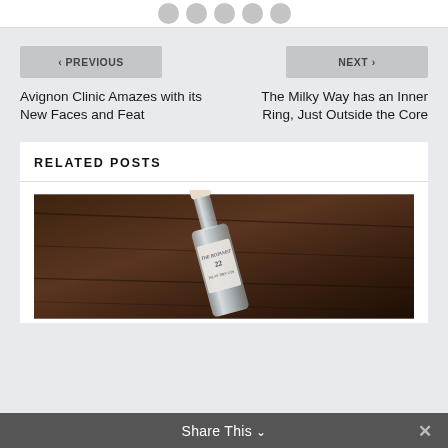[Figure (other): Row of circular avatar/profile icons in grey at the top of the page]
< PREVIOUS
NEXT >
Avignon Clinic Amazes with its New Faces and Feat
The Milky Way has an Inner Ring, Just Outside the Core
RELATED POSTS
[Figure (photo): Photo of The Botanist gin bottle number 22 on a dark wooden surface]
Share This